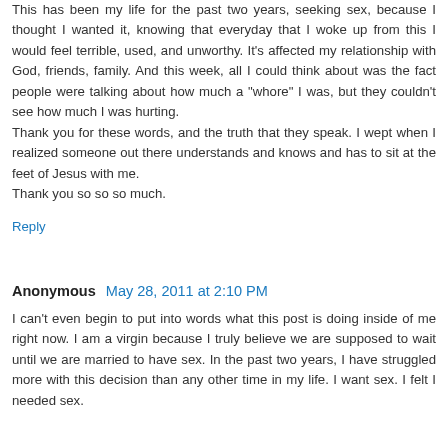This has been my life for the past two years, seeking sex, because I thought I wanted it, knowing that everyday that I woke up from this I would feel terrible, used, and unworthy. It's affected my relationship with God, friends, family. And this week, all I could think about was the fact people were talking about how much a "whore" I was, but they couldn't see how much I was hurting. Thank you for these words, and the truth that they speak. I wept when I realized someone out there understands and knows and has to sit at the feet of Jesus with me. Thank you so so so much.
Reply
Anonymous  May 28, 2011 at 2:10 PM
I can't even begin to put into words what this post is doing inside of me right now. I am a virgin because I truly believe we are supposed to wait until we are married to have sex. In the past two years, I have struggled more with this decision than any other time in my life. I want sex. I felt I needed sex.